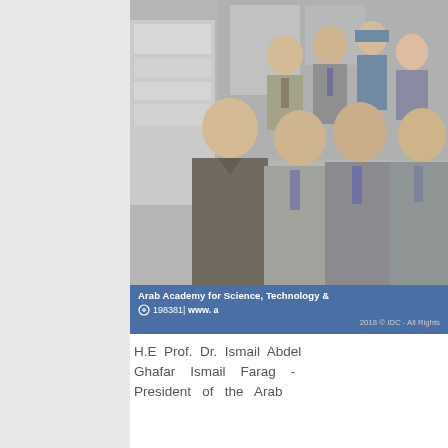[Figure (photo): Group photo of approximately 10 people standing in front of a building. A blue banner at the bottom reads 'Arab Academy for Science, Technology &' with phone number '198381' and 'www.a' and '2018 © IDC - All Rights']
H.E Prof. Dr. Ismail Abdel Ghafar Ismail Farag - President of the Arab